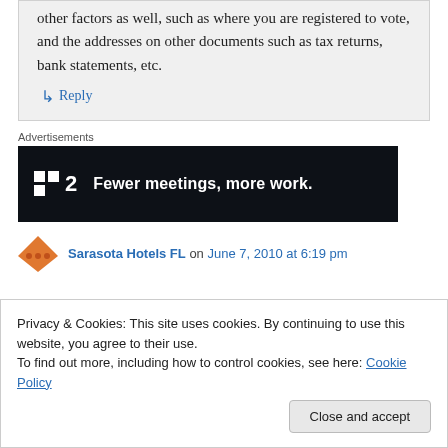other factors as well, such as where you are registered to vote, and the addresses on other documents such as tax returns, bank statements, etc.
↳ Reply
Advertisements
[Figure (other): Advertisement banner: dark background with P2 logo and text 'Fewer meetings, more work.']
Sarasota Hotels FL on June 7, 2010 at 6:19 pm
Privacy & Cookies: This site uses cookies. By continuing to use this website, you agree to their use.
To find out more, including how to control cookies, see here: Cookie Policy
Close and accept